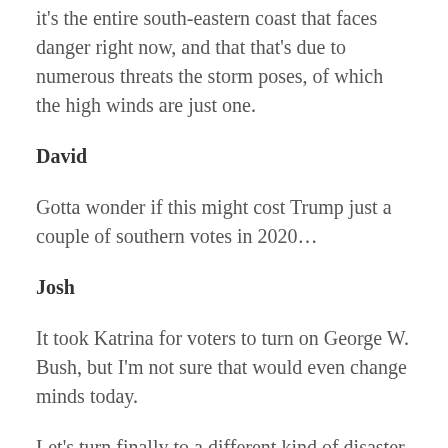it's the entire south-eastern coast that faces danger right now, and that that's due to numerous threats the storm poses, of which the high winds are just one.
David
Gotta wonder if this might cost Trump just a couple of southern votes in 2020…
Josh
It took Katrina for voters to turn on George W. Bush, but I'm not sure that would even change minds today.
Let's turn finally to a different kind of disaster, this one economic and impending. Brexit, the